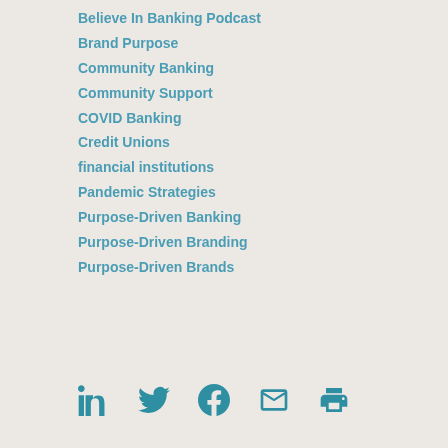Believe In Banking Podcast
Brand Purpose
Community Banking
Community Support
COVID Banking
Credit Unions
financial institutions
Pandemic Strategies
Purpose-Driven Banking
Purpose-Driven Branding
Purpose-Driven Brands
[Figure (infographic): Social sharing icons: LinkedIn, Twitter, Facebook, Email, Print]